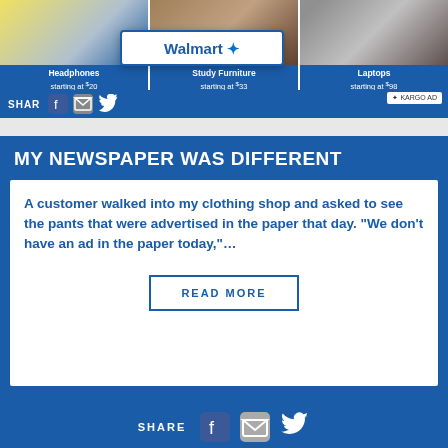[Figure (screenshot): Walmart advertisement banner with three product cards: Headphones starting at $20, Study Furniture starting at $33, Laptops starting at $98, each with Shop now buttons. A Walmart popup overlay appears over the middle card.]
SHARE
MY NEWSPAPER WAS DIFFERENT
A customer walked into my clothing shop and asked to see the pants that were advertised in the paper that day. "We don't have an ad in the paper today,"...
READ MORE
SHARE